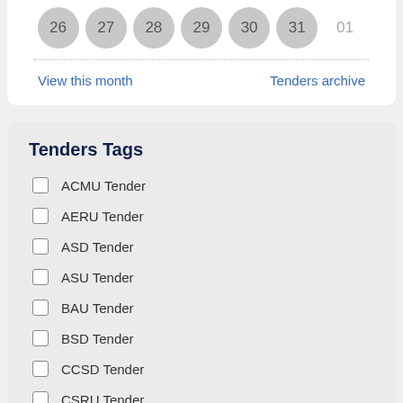[Figure (other): Calendar row showing dates 26, 27, 28, 29, 30, 31 as grey circles and 01 faded]
View this month
Tenders archive
Tenders Tags
ACMU Tender
AERU Tender
ASD Tender
ASU Tender
BAU Tender
BSD Tender
CCSD Tender
CSRU Tender
CSSC Tender
CVPRU Tender